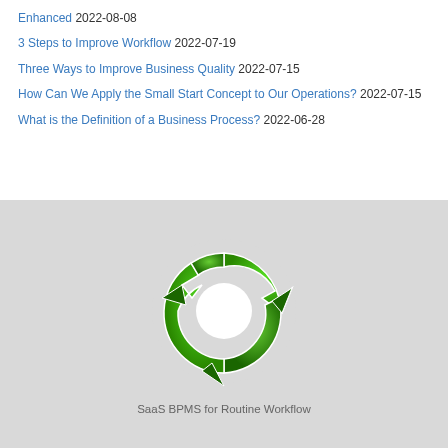Enhanced 2022-08-08
3 Steps to Improve Workflow 2022-07-19
Three Ways to Improve Business Quality 2022-07-15
How Can We Apply the Small Start Concept to Our Operations? 2022-07-15
What is the Definition of a Business Process? 2022-06-28
[Figure (logo): Circular green arrow logo for SaaS BPMS for Routine Workflow]
SaaS BPMS for Routine Workflow